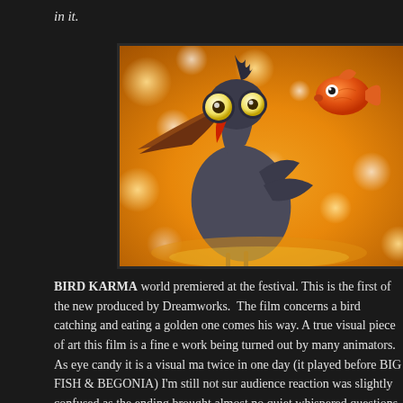in it.
[Figure (illustration): Animated illustration showing a large gray heron-like bird with big yellow eyes and a long beak, and a small orange goldfish, set against a warm golden bokeh background. Dreamworks animation style.]
BIRD KARMA world premiered at the festival. This is the first of the new produced by Dreamworks. The film concerns a bird catching and eating a golden one comes his way. A true visual piece of art this film is a fine e work being turned out by many animators. As eye candy it is a visual ma twice in one day (it played before BIG FISH & BEGONIA) I'm still not sur audience reaction was slightly confused as the ending brought almost no quiet whispered questions from some of the people around me during the early bits brought laughs but the end brought crickets.